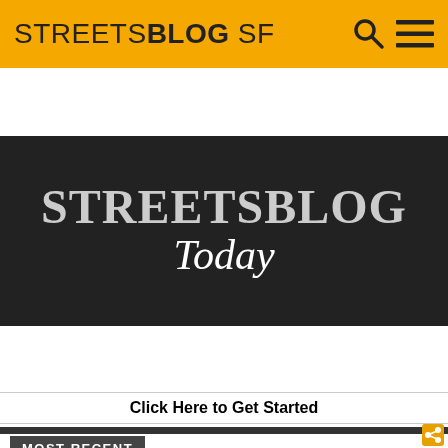STREETSBLOG SF
[Figure (screenshot): Streetsblog Today banner with dark background, large text reading STREETSBLOG Today]
[Figure (infographic): Row of four donation/support icons: Kindest (blue), Patreon (red/salmon), Steemit (gold), Bitcoin (orange circle with B)]
Click Here to Get Started
MOST RECENT